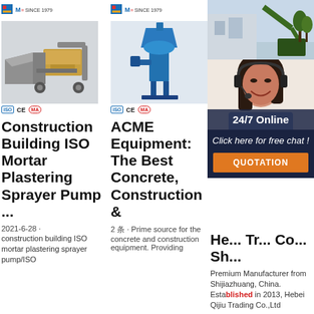[Figure (photo): Product image column 1: industrial mortar plastering sprayer pump machine, with ML/SINCE 1979 logo above and certification badges below (ISO, CE, MA)]
Construction Building ISO Mortar Plastering Sprayer Pump ...
2021-6-28 · construction building ISO mortar plastering sprayer pump/ISO
[Figure (photo): Product image column 2: blue concrete/mortar pump machine, with ML/SINCE 1979 logo above and certification badges below (ISO, CE, MA)]
ACME Equipment: The Best Concrete, Construction &
2 条 · Prime source for the concrete and construction equipment. Providing
[Figure (photo): Product image column 3: construction site with excavator, with ML/SINCE 1979 logo above and overlay showing 24/7 Online chat support with woman wearing headset, Click here for free chat, QUOTATION button]
He... Tr... Co... Sh... Ch...
Premium Manufacturer from Shijiazhuang, China. Established in 2013, Hebei Qijiu Trading Co.,Ltd